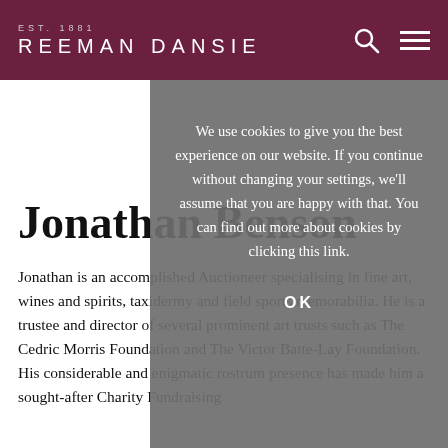EST. 1881 REEMAN DANSIE
Jonathan Benson
Jonathan is an accomplished Auctioneer specialising in fine art, wines and spirits, taxidermy and field sports memorabilia. He is a trustee and director of several prominent art trusts such as The Cedric Morris Foundation and The Victor Batte-Lay Foundation. His considerable and enigmatic rostrum presence has made him a sought-after Charity Fundraising
We use cookies to give you the best experience on our website. If you continue without changing your settings, we'll assume that you are happy with that. You can find out more about cookies by clicking this link.
OK